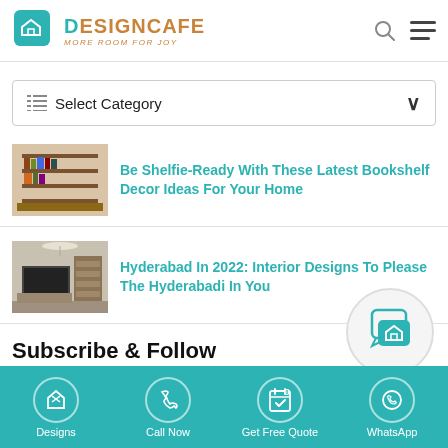DESIGNCAFE — MORE ROOM FOR JOY
Select Category
Be Shelfie-Ready With These Latest Bookshelf Decor Ideas For Your Home
Hyderabad In 2022: Interior Designs To Please The Hyderabadi In You
Subscribe & Follow
Designs | Call Now | Get Free Quote | WhatsApp